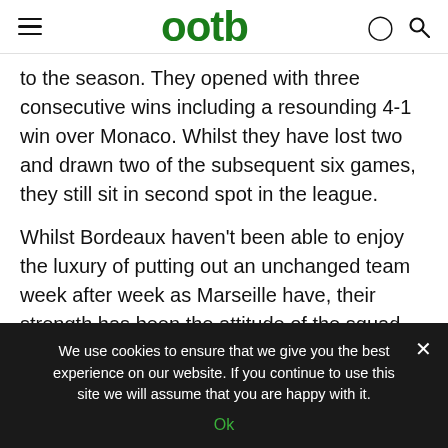ootb
to the season. They opened with three consecutive wins including a resounding 4-1 win over Monaco. Whilst they have lost two and drawn two of the subsequent six games, they still sit in second spot in the league.
Whilst Bordeaux haven't been able to enjoy the luxury of putting out an unchanged team week after week as Marseille have, their strength has been the attitude of the squad. This has been crucial, especially in the second half of games as so
We use cookies to ensure that we give you the best experience on our website. If you continue to use this site we will assume that you are happy with it.
Ok